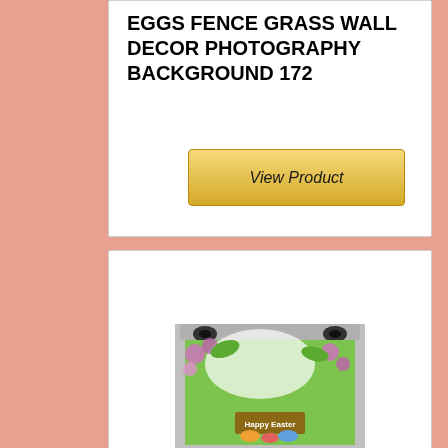EGGS FENCE GRASS WALL DECOR PHOTOGRAPHY BACKGROUND 172
[Figure (other): View Product button - golden/yellow gradient rectangular button with italic text 'View Product']
[Figure (photo): Product image showing a photography backdrop with flowers, greenery, Easter/spring theme with 'Happy Easter' sign, displayed on a backdrop stand with studio lights]